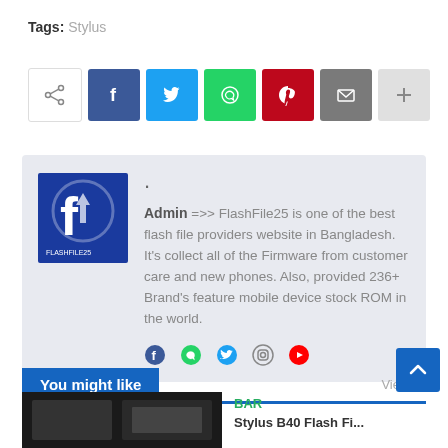Tags: Stylus
[Figure (infographic): Row of social share buttons: share icon (white), Facebook (dark blue), Twitter (light blue), WhatsApp (green), Pinterest (red), Email (gray), More/plus (light gray)]
Admin =>> FlashFile25 is one of the best flash file providers website in Bangladesh. It's collect all of the Firmware from customer care and new phones. Also, provided 236+ Brand's feature mobile device stock ROM in the world.
[Figure (infographic): Social media icons row: Facebook, WhatsApp, Twitter, Instagram, YouTube]
You might like
View all
BAR